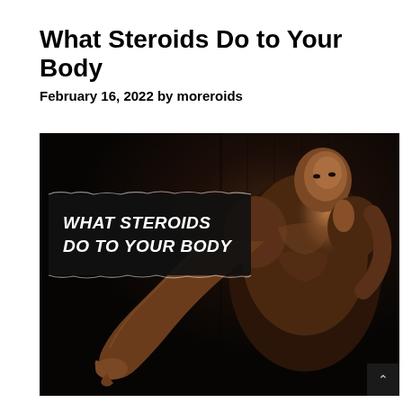What Steroids Do to Your Body
February 16, 2022 by moreroids
[Figure (photo): Black background photo of a muscular shirtless man posing, showing defined physique. Overlaid torn paper graphic with bold italic white text reading 'WHAT STEROIDS DO TO YOUR BODY'. A scroll-up arrow button appears in the bottom right corner.]